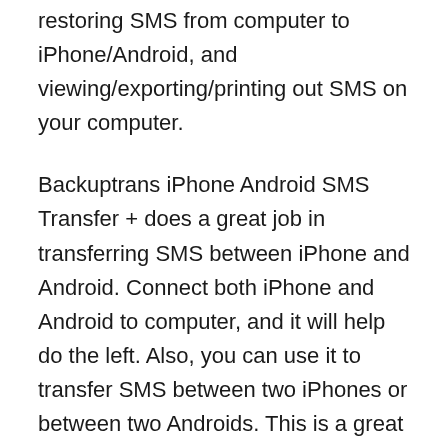restoring SMS from computer to iPhone/Android, and viewing/exporting/printing out SMS on your computer.
Backuptrans iPhone Android SMS Transfer + does a great job in transferring SMS between iPhone and Android. Connect both iPhone and Android to computer, and it will help do the left. Also, you can use it to transfer SMS between two iPhones or between two Androids. This is a great helper when you get a new phone. In addition, it makes it easy to transfer and backup your SMS from iPhone/Android to computer where you can view,export or print out your SMS. Amazingly, you can easily restore the SMS backup back to your old phone or onto a new iPhone/Android phone. Besides, you can also